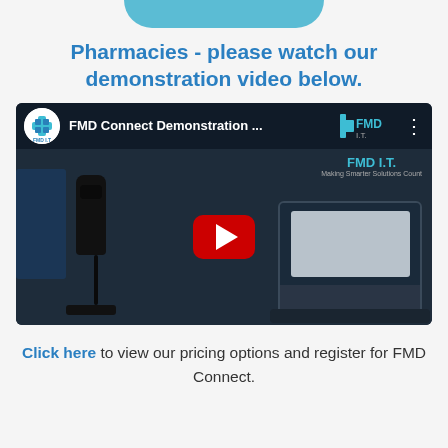Pharmacies - please watch our demonstration video below.
[Figure (screenshot): YouTube video thumbnail showing 'FMD Connect Demonstration ...' with a barcode scanner and laptop on a dark background, with a red play button in the center.]
Click here to view our pricing options and register for FMD Connect.